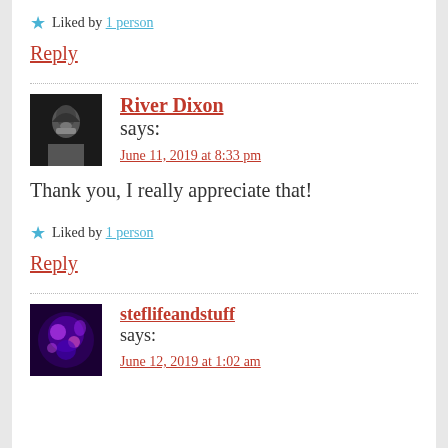Liked by 1 person
Reply
River Dixon says:
June 11, 2019 at 8:33 pm
Thank you, I really appreciate that!
Liked by 1 person
Reply
steflifeandstuff says:
June 12, 2019 at 1:02 am